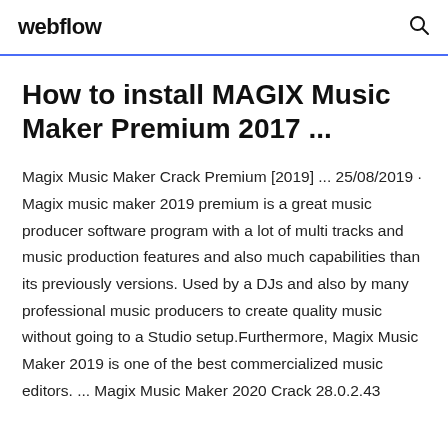webflow
How to install MAGIX Music Maker Premium 2017 ...
Magix Music Maker Crack Premium [2019] ... 25/08/2019 · Magix music maker 2019 premium is a great music producer software program with a lot of multi tracks and music production features and also much capabilities than its previously versions. Used by a DJs and also by many professional music producers to create quality music without going to a Studio setup.Furthermore, Magix Music Maker 2019 is one of the best commercialized music editors. ... Magix Music Maker 2020 Crack 28.0.2.43